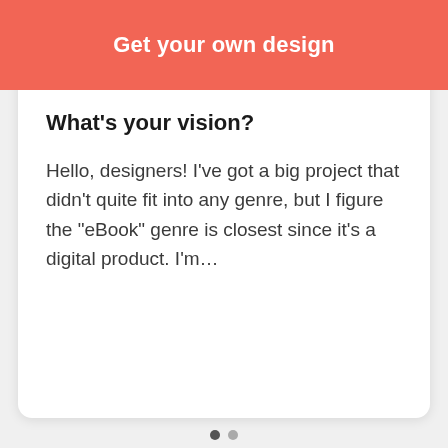Get your own design
You could say I'm in the self-improvement line of…
What's your vision?
Hello, designers! I've got a big project that didn't quite fit into any genre, but I figure the "eBook" genre is closest since it's a digital product. I'm…